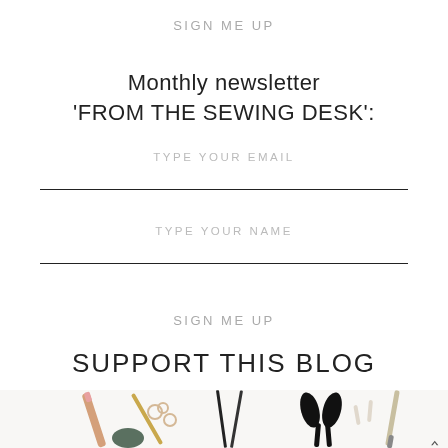SIGN ME UP
Monthly newsletter
'FROM THE SEWING DESK':
TYPE YOUR EMAIL
TYPE YOUR NAME
SIGN ME UP
SUPPORT THIS BLOG
[Figure (photo): Flat lay of sewing and crafting tools: scissors, needles, rings, pencils, pins on white background]